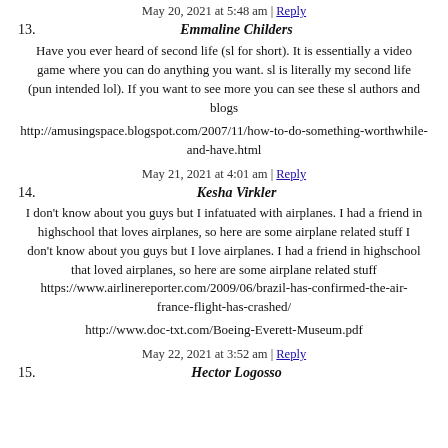May 20, 2021 at 5:48 am | Reply
13. Emmaline Childers
Have you ever heard of second life (sl for short). It is essentially a video game where you can do anything you want. sl is literally my second life (pun intended lol). If you want to see more you can see these sl authors and blogs
http://amusingspace.blogspot.com/2007/11/how-to-do-something-worthwhile-and-have.html
May 21, 2021 at 4:01 am | Reply
14. Kesha Virkler
I don't know about you guys but I infatuated with airplanes. I had a friend in highschool that loves airplanes, so here are some airplane related stuff I don't know about you guys but I love airplanes. I had a friend in highschool that loved airplanes, so here are some airplane related stuff https://www.airlinereporter.com/2009/06/brazil-has-confirmed-the-air-france-flight-has-crashed/
http://www.doc-txt.com/Boeing-Everett-Museum.pdf
May 22, 2021 at 3:52 am | Reply
15. Hector Logosso